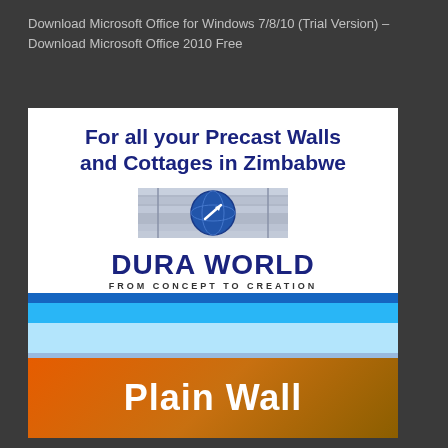Download Microsoft Office for Windows 7/8/10 (Trial Version) – Download Microsoft Office 2010 Free
[Figure (illustration): Dura World advertisement for precast walls and cottages in Zimbabwe. Features the Dura World logo with globe graphic, tagline 'FROM CONCEPT TO CREATION', website www.duraworld.co.zw, blue chevron design, and 'Plain Wall' text on orange/brown gradient background.]